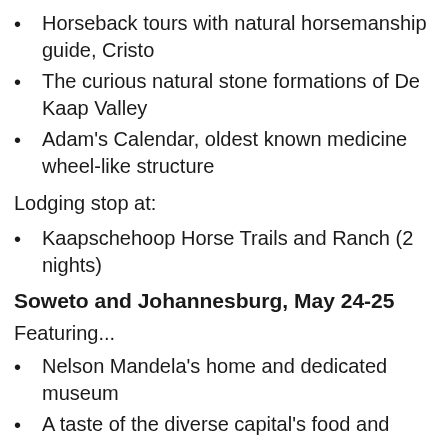Horseback tours with natural horsemanship guide, Cristo
The curious natural stone formations of De Kaap Valley
Adam's Calendar, oldest known medicine wheel-like structure
Lodging stop at:
Kaapschehoop Horse Trails and Ranch (2 nights)
Soweto and Johannesburg, May 24-25
Featuring...
Nelson Mandela's home and dedicated museum
A taste of the diverse capital's food and